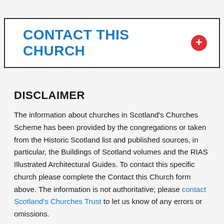CONTACT THIS CHURCH
DISCLAIMER
The information about churches in Scotland's Churches Scheme has been provided by the congregations or taken from the Historic Scotland list and published sources, in particular, the Buildings of Scotland volumes and the RIAS Illustrated Architectural Guides. To contact this specific church please complete the Contact this Church form above. The information is not authoritative; please contact Scotland's Churches Trust to let us know of any errors or omissions.